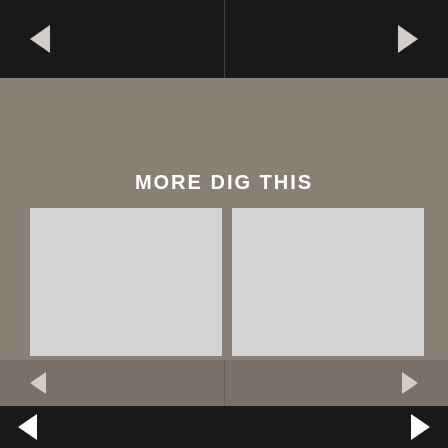[Figure (screenshot): Top navigation bar with left-pointing and right-pointing arrow buttons on black background]
MORE DIG THIS
[Figure (photo): Gray image placeholder for Product Drop - New United Apparel article]
PRODUCT DROP - NEW UNITED APPAREL
24 AUG 2022
[Figure (photo): Gray image placeholder for Snapshots - The US/Them 'Salad Days' Video Premiere article]
SNAPSHOTS - THE US/THEM 'SALAD DAYS' VIDEO PREMIERE
23 AUG 2022
[Figure (screenshot): Bottom lighter navigation bar with left and right arrow buttons]
[Figure (screenshot): Bottom dark navigation bar with left and right arrow buttons]